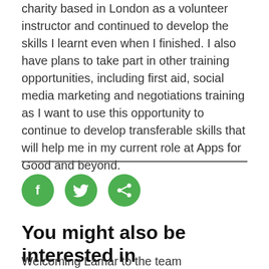charity based in London as a volunteer instructor and continued to develop the skills I learnt even when I finished. I also have plans to take part in other training opportunities, including first aid, social media marketing and negotiations training as I want to use this opportunity to continue to develop transferable skills that will help me in my current role at Apps for Good and beyond.
[Figure (infographic): Three green circular social media share buttons: Facebook (f), Twitter (bird), and Share icons]
You might also be interested in
Welcoming Lamar to the team